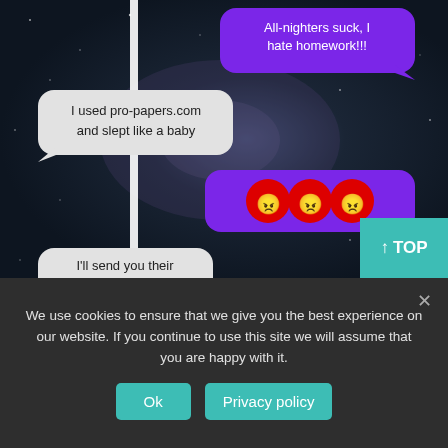[Figure (screenshot): A mobile phone chat conversation screenshot overlaid on a galaxy/night sky background. Purple speech bubbles on the right side contain: 'All-nighters suck, I hate homework!!!' and three angry face emojis and 'You're forgiven'. Grey speech bubbles on the left contain: 'I used pro-papers.com and slept like a baby' and 'I'll send you their 15% discount'. A teal 'TOP' button is in the lower right.]
We use cookies to ensure that we give you the best experience on our website. If you continue to use this site we will assume that you are happy with it.
Ok
Privacy policy